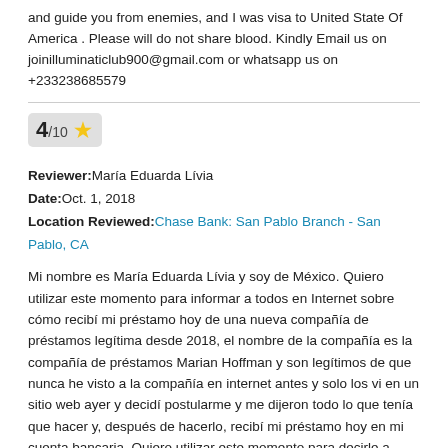and guide you from enemies, and I was visa to United State Of America . Please will do not share blood. Kindly Email us on joinilluminaticlub900@gmail.com or whatsapp us on +233238685579
4/10 ★
Reviewer: María Eduarda Lívia
Date: Oct. 1, 2018
Location Reviewed: Chase Bank: San Pablo Branch - San Pablo, CA
Mi nombre es María Eduarda Lívia y soy de México. Quiero utilizar este momento para informar a todos en Internet sobre cómo recibí mi préstamo hoy de una nueva compañía de préstamos legítima desde 2018, el nombre de la compañía es la compañía de préstamos Marian Hoffman y son legítimos de que nunca he visto a la compañía en internet antes y solo los vi en un sitio web ayer y decidí postularme y me dijeron todo lo que tenía que hacer y, después de hacerlo, recibí mi préstamo hoy en mi cuenta bancaria. Quiero utilizar este momento para decirle a todos en Internet que si